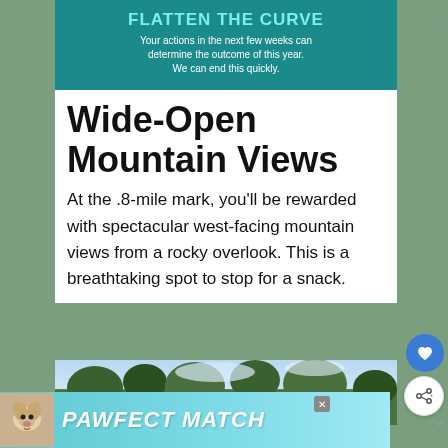[Figure (screenshot): Teal public health banner reading FLATTEN THE CURVE with subtitle text]
Wide-Open Mountain Views
At the .8-mile mark, you'll be rewarded with spectacular west-facing mountain views from a rocky overlook. This is a breathtaking spot to stop for a snack.
[Figure (photo): Outdoor nature photo showing trees and sky, mountain overlook scene]
[Figure (screenshot): Bottom advertisement banner for PAWFECT MATCH featuring a dog illustration]